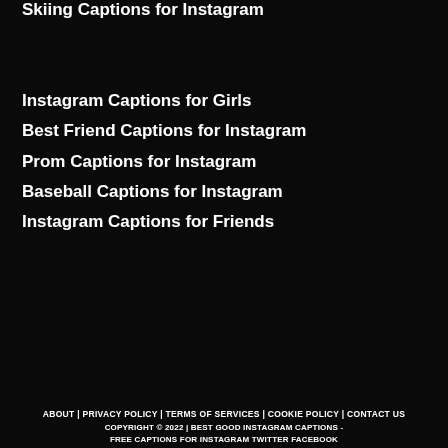Skiing Captions for Instagram
Instagram Captions for Girls
Best Friend Captions for Instagram
Prom Captions for Instagram
Baseball Captions for Instagram
Instagram Captions for Friends
ABOUT | PRIVACY POLICY | TERMS OF SERVICES | COOKIE POLICY | CONTACT US
COPYRIGHT © 2022 | BEST GOOD INSTAGRAM CAPTIONS - FREE CAPTIONS FOR INSTAGRAM TWITTER FACEBOOK